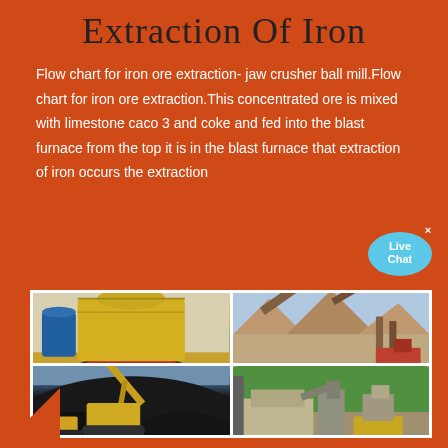Extraction Of Iron
Flow chart for iron ore extraction- jaw crusher ball mill.Flow chart for iron ore extraction.This concentrated ore is mixed with limestone caco 3 and coke and fed into the blast furnace from the top it is in the blast furnace that extraction of iron occurs the extraction
[Figure (photo): Four photos of mining and ore processing equipment: top-left shows a yellow cone crusher machine on a mobile platform; top-right shows an open-pit quarry with conveyor belts on a hillside; bottom-left shows a large excavator/loader moving dark ore/coal; bottom-right shows an industrial ore processing plant with machinery and green hills in background.]
[Figure (illustration): Live Chat speech bubble icon in blue/cyan color with white text 'Live Chat']